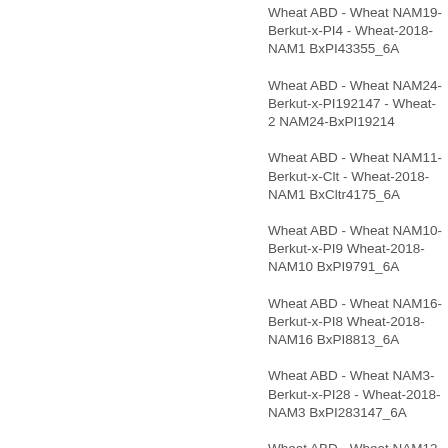Wheat ABD - Wheat NAM19-Berkut-x-PI43355 - Wheat-2018-NAM19-BxPI43355_6A
Wheat ABD - Wheat NAM24-Berkut-x-PI192147 - Wheat-2018-NAM24-BxPI192147
Wheat ABD - Wheat NAM11-Berkut-x-Cltr4175 - Wheat-2018-NAM11-BxCltr4175_6A
Wheat ABD - Wheat NAM10-Berkut-x-PI9791 - Wheat-2018-NAM10-BxPI9791_6A
Wheat ABD - Wheat NAM16-Berkut-x-PI8813 - Wheat-2018-NAM16-BxPI8813_6A
Wheat ABD - Wheat NAM3-Berkut-x-PI283147 - Wheat-2018-NAM3-BxPI283147_6A
Wheat ABD - Wheat NAM12-Berkut-x-